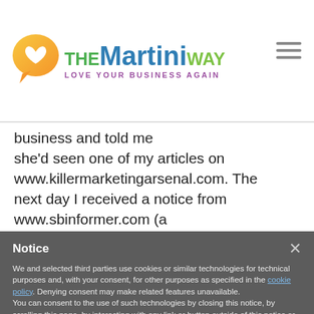[Figure (logo): The Martini Way logo with orange speech bubble containing a white heart, green 'THE', blue 'Martini', and green 'WAY' text, with purple tagline 'LOVE YOUR BUSINESS AGAIN']
business and told me she'd seen one of my articles on www.killermarketingarsenal.com. The next day I received a notice from www.sbinformer.com (a small business
Notice
We and selected third parties use cookies or similar technologies for technical purposes and, with your consent, for other purposes as specified in the cookie policy. Denying consent may make related features unavailable.
You can consent to the use of such technologies by closing this notice, by scrolling this page, by interacting with any link or button outside of this notice or by continuing to browse otherwise.